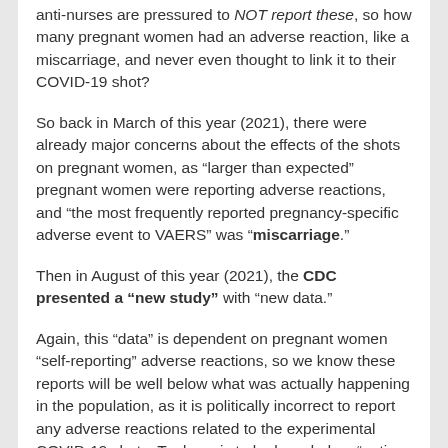anti-nurses are pressured to NOT report these, so how many pregnant women had an adverse reaction, like a miscarriage, and never even thought to link it to their COVID-19 shot?
So back in March of this year (2021), there were already major concerns about the effects of the shots on pregnant women, as “larger than expected” pregnant women were reporting adverse reactions, and “the most frequently reported pregnancy-specific adverse event to VAERS” was “miscarriage.”
Then in August of this year (2021), the CDC presented a “new study” with “new data.”
Again, this “data” is dependent on pregnant women “self-reporting” adverse reactions, so we know these reports will be well below what was actually happening in the population, as it is politically incorrect to report any adverse reactions related to the experimental COVID-19 shots. To do so is to be branded an “anti-vaxxer” and shame you for life.